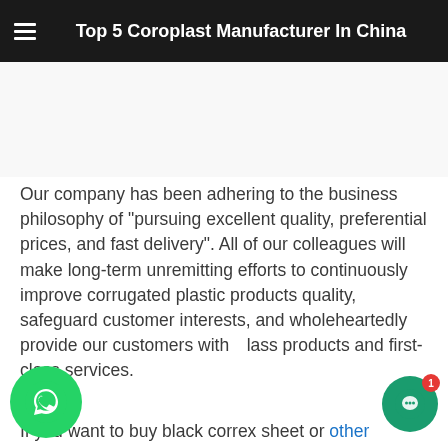Top 5 Coroplast Manufacturer In China
[Figure (other): Blank/white advertisement space placeholder]
Our company has been adhering to the business philosophy of "pursuing excellent quality, preferential prices, and fast delivery". All of our colleagues will make long-term unremitting efforts to continuously improve corrugated plastic products quality, safeguard customer interests, and wholeheartedly provide our customers with first-class products and first-class services.
If you want to buy black correx sheet or other